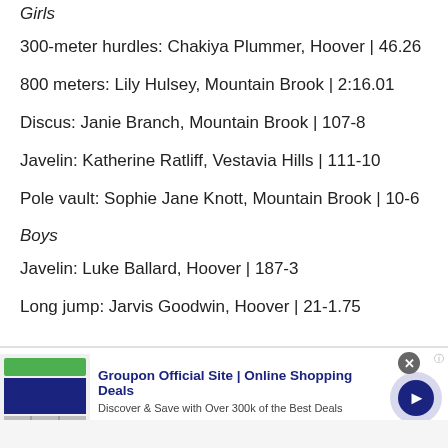Girls
300-meter hurdles: Chakiya Plummer, Hoover | 46.26
800 meters: Lily Hulsey, Mountain Brook | 2:16.01
Discus: Janie Branch, Mountain Brook | 107-8
Javelin: Katherine Ratliff, Vestavia Hills | 111-10
Pole vault: Sophie Jane Knott, Mountain Brook | 10-6
Boys
Javelin: Luke Ballard, Hoover | 187-3
Long jump: Jarvis Goodwin, Hoover | 21-1.75
[Figure (other): Groupon advertisement banner: Groupon Official Site | Online Shopping Deals. Discover & Save with Over 300k of the Best Deals. www.groupon.com]